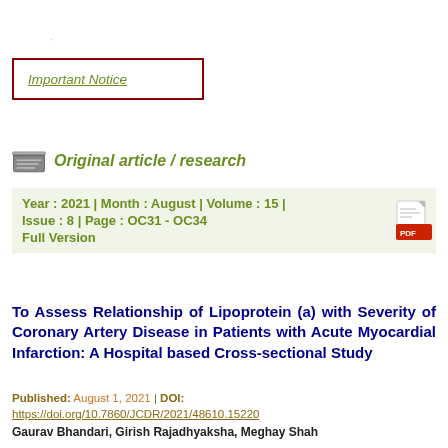. .
Important Notice
Original article / research
Year : 2021 | Month : August | Volume : 15 | Issue : 8 | Page : OC31 - OC34 Full Version
To Assess Relationship of Lipoprotein (a) with Severity of Coronary Artery Disease in Patients with Acute Myocardial Infarction: A Hospital based Cross-sectional Study
Published: August 1, 2021 | DOI: https://doi.org/10.7860/JCDR/2021/48610.15220
Gaurav Bhandari, Girish Rajadhyaksha, Meghay Shah